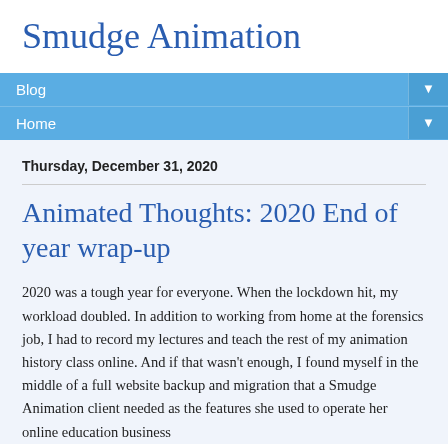Smudge Animation
Blog
Home
Thursday, December 31, 2020
Animated Thoughts: 2020 End of year wrap-up
2020 was a tough year for everyone. When the lockdown hit, my workload doubled. In addition to working from home at the forensics job, I had to record my lectures and teach the rest of my animation history class online. And if that wasn't enough, I found myself in the middle of a full website backup and migration that a Smudge Animation client needed as the features she used to operate her online education business